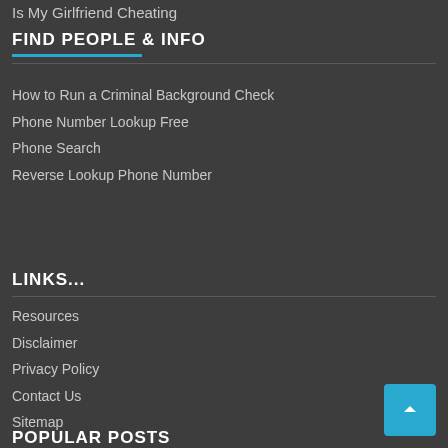Is My Girlfriend Cheating
FIND PEOPLE & INFO
How to Run a Criminal Background Check
Phone Number Lookup Free
Phone Search
Reverse Lookup Phone Number
LINKS...
Resources
Disclaimer
Privacy Policy
Contact Us
Sitemap
POPULAR POSTS